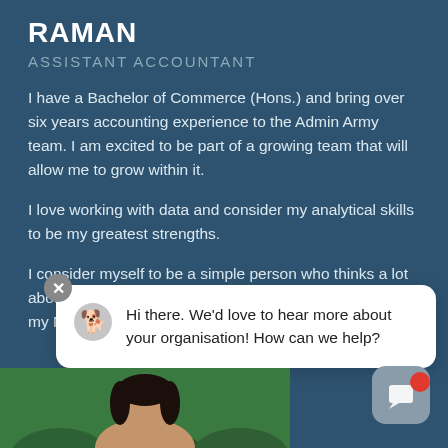RAMAN
ASSISTANT ACCOUNTANT
I have a Bachelor of Commerce (Hons.) and bring over six years accounting experience to the Admin Army team. I am excited to be part of a growing team that will allow me to grow within it.
I love working with data and consider my analytical skills to be my greatest strengths.
I consider myself to be a simple person who thinks a lot about the future and I love eating simple food cooked by my Mother.
Hi there. We'd love to hear more about your organisation! How can we help?
[Figure (photo): Bottom of page: partial photo of a person, visible from shoulders/head, set against green foliage background]